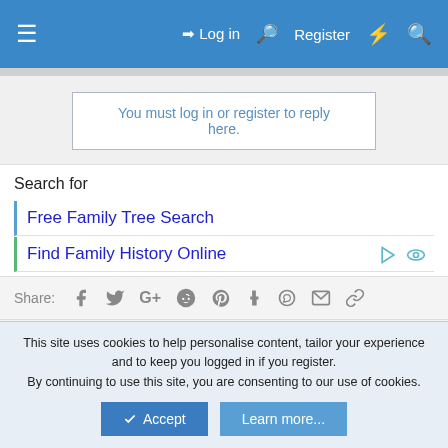≡  Log in  Register  ⚡  🔍
You must log in or register to reply here.
Search for
Free Family Tree Search
Find Family History Online
Share:  f  Twitter  G+  Reddit  Pinterest  Tumblr  WhatsApp  Email  Link
Similar threads
Unsure what surname should be - listed as Nciliwie
Started by Terrie · 18 April 2017 · Replies: 11
This site uses cookies to help personalise content, tailor your experience and to keep you logged in if you register.
By continuing to use this site, you are consenting to our use of cookies.